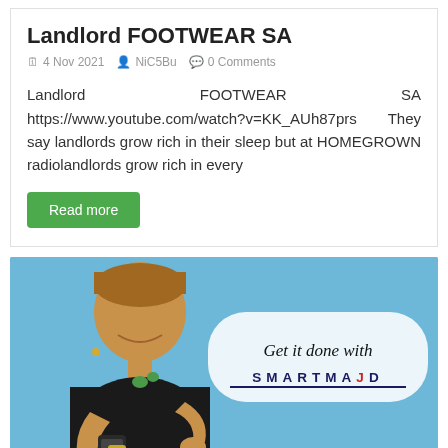Landlord FOOTWEAR SA
4 Nov 2021  NiC5Bu  0 Comments
Landlord FOOTWEAR SA https://www.youtube.com/watch?v=KK_AUh87prs They say landlords grow rich in their sleep but at HOMEGROWN radiolandlords grow rich in every
Read more
[Figure (photo): Advertisement image with a smiling woman in a black top looking at a smartphone, on a blue background, with a speech bubble reading 'Get it done with SMARTMAID']